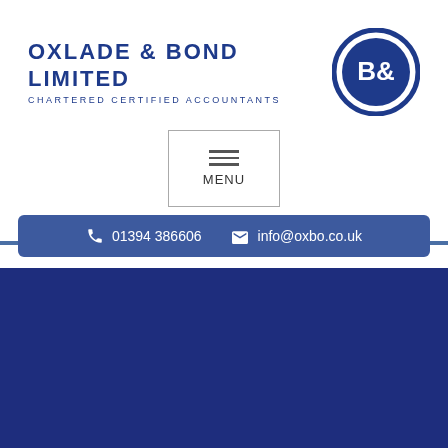[Figure (logo): Oxlade & Bond Limited logo with circular B& emblem and text CHARTERED CERTIFIED ACCOUNTANTS]
[Figure (other): Navigation menu button with hamburger icon and MENU text]
01394 386606   info@oxbo.co.uk
Employment benefits
The remuneration of many directors and employees comprises a package of salary and benefits. In this factsheet we consider some